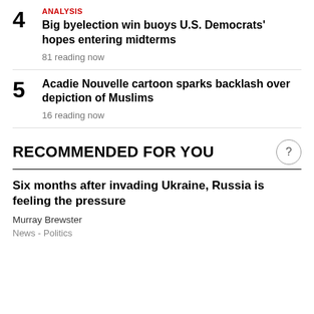4 ANALYSIS Big byelection win buoys U.S. Democrats' hopes entering midterms 81 reading now
5 Acadie Nouvelle cartoon sparks backlash over depiction of Muslims 16 reading now
RECOMMENDED FOR YOU
Six months after invading Ukraine, Russia is feeling the pressure
Murray Brewster
News  -  Politics